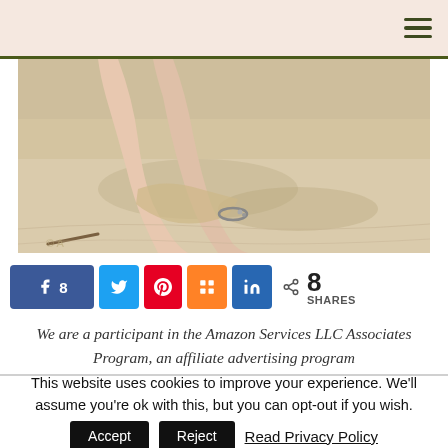[Figure (photo): A beach photo showing a person's feet/legs resting in sand, with an anklet visible on one ankle. Sandy beach setting with warm tones.]
[Figure (infographic): Social share buttons row: Facebook (8 shares), Twitter, Pinterest, Mix, LinkedIn, and a total share count of 8 SHARES]
We are a participant in the Amazon Services LLC Associates Program, an affiliate advertising program
This website uses cookies to improve your experience. We'll assume you're ok with this, but you can opt-out if you wish. Accept Reject Read Privacy Policy